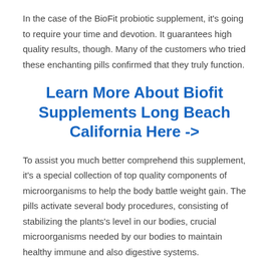In the case of the BioFit probiotic supplement, it's going to require your time and devotion. It guarantees high quality results, though. Many of the customers who tried these enchanting pills confirmed that they truly function.
Learn More About Biofit Supplements Long Beach California Here ->
To assist you much better comprehend this supplement, it's a special collection of top quality components of microorganisms to help the body battle weight gain. The pills activate several body procedures, consisting of stabilizing the plants's level in our bodies, crucial microorganisms needed by our bodies to maintain healthy immune and also digestive systems.
How BioFit Tablets Work?